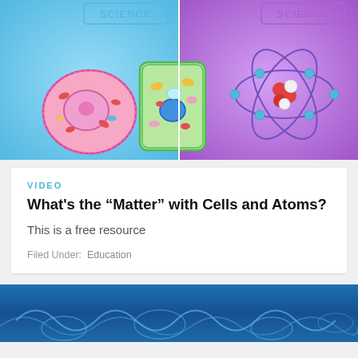[Figure (illustration): Two science textbook covers side by side. Left cover has blue background with illustrated animal cell and plant cell diagrams. Right cover has purple/violet background with an atomic orbital diagram showing electrons and nucleus.]
VIDEO
What's the “Matter” with Cells and Atoms?
This is a free resource
Filed Under: Education
[Figure (photo): Bottom portion of a dark blue image showing a science-related background with wave or cell-like patterns drawn in lighter blue lines.]